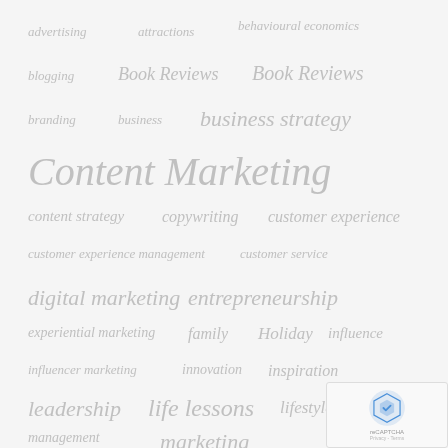[Figure (infographic): Tag cloud showing various marketing and business related tags in different font sizes indicating frequency/importance. Tags include: advertising, attractions, behavioural economics, blogging, Book Reviews (x2), branding, business, business strategy, Content Marketing (largest), content strategy, copywriting, customer experience, customer experience management, customer service, digital marketing, entrepreneurship, experiential marketing, family, Holiday, influence, influencer marketing, innovation, inspiration, leadership, life lessons, lifestyle, management, marketing, marketing strategy, motivation, personal.]